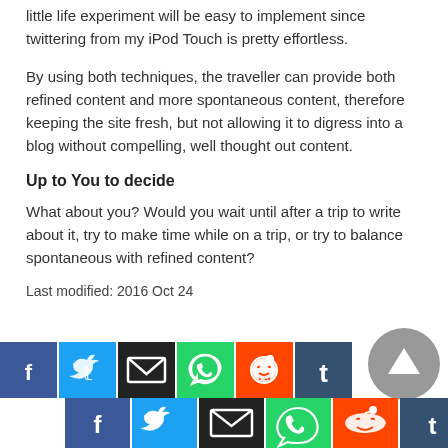little life experiment will be easy to implement since twittering from my iPod Touch is pretty effortless.
By using both techniques, the traveller can provide both refined content and more spontaneous content, therefore keeping the site fresh, but not allowing it to digress into a blog without compelling, well thought out content.
Up to You to decide
What about you? Would you wait until after a trip to write about it, try to make time while on a trip, or try to balance spontaneous with refined content?
Last modified: 2016 Oct 24
[Figure (infographic): Social sharing buttons row 1: Facebook (blue), Twitter (light blue), Email (black), WhatsApp (green), Reddit (orange-red), Tumblr (dark blue)]
[Figure (infographic): Social sharing buttons row 2: Facebook (blue), Twitter (light blue), Email (black), WhatsApp (green), Reddit (orange-red), Tumblr (dark blue); plus scroll-to-top circular button]